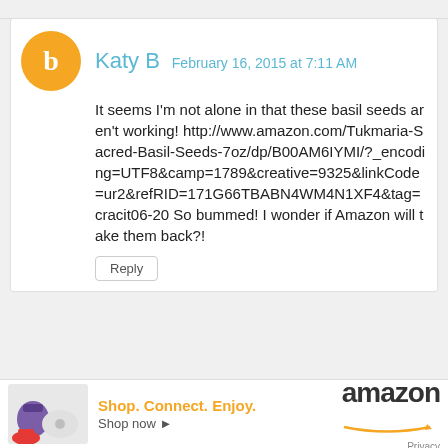Katy B  February 16, 2015 at 7:11 AM
It seems I'm not alone in that these basil seeds aren't working! http://www.amazon.com/Tukmaria-Sacred-Basil-Seeds-7oz/dp/B00AM6IYMI/?_encoding=UTF8&camp=1789&creative=9325&linkCode=ur2&refRID=171G66TBABN4WM4N1XF4&tag=cracit06-20 So bummed! I wonder if Amazon will take them back?!
Reply
Replies
Asia Citro
[Figure (screenshot): Amazon advertisement banner: Shop. Connect. Enjoy. Shop now with Amazon logo]